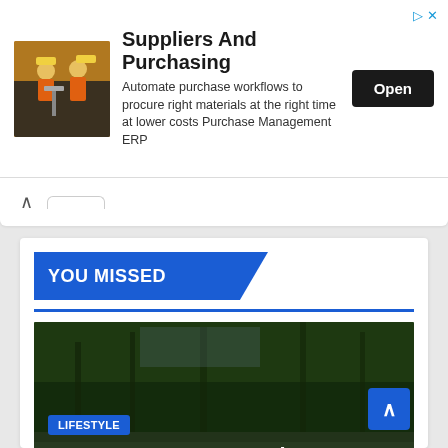[Figure (screenshot): Advertisement banner: Suppliers And Purchasing - Automate purchase workflows to procure right materials at the right time at lower costs Purchase Management ERP, with construction worker photo and Open button]
YOU MISSED
[Figure (photo): Outdoor nature scene showing a river or canal with green trees reflected in calm water, with a dark kayak in the foreground]
LIFESTYLE
3 Reasons To Buy A Blow Up Kayak For Your Next
AUG 19, 2022   JENNIFER